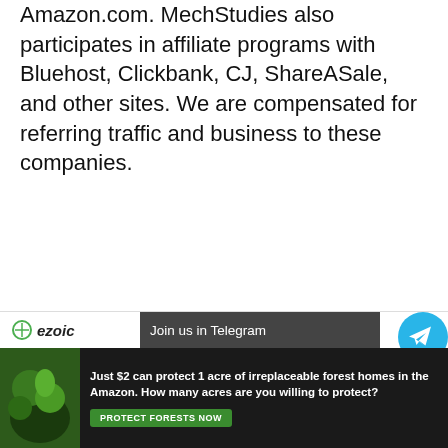Amazon.com. MechStudies also participates in affiliate programs with Bluehost, Clickbank, CJ, ShareASale, and other sites. We are compensated for referring traffic and business to these companies.
[Figure (other): Ezoic logo bar with 'Join us in Telegram' button and Telegram icon, above a forest conservation advertisement banner reading 'Just $2 can protect 1 acre of irreplaceable forest homes in the Amazon. How many acres are you willing to protect?' with a 'PROTECT FORESTS NOW' button.]